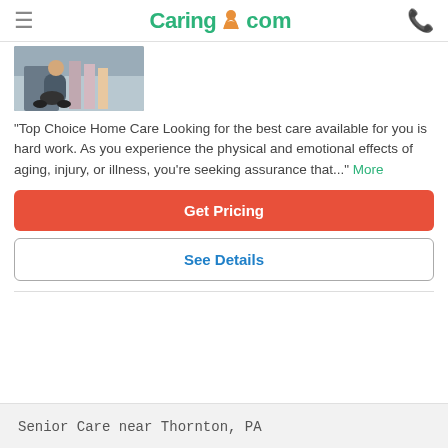Caring.com
[Figure (photo): Person in wheelchair with people standing in background]
"Top Choice Home Care Looking for the best care available for you is hard work. As you experience the physical and emotional effects of aging, injury, or illness, you're seeking assurance that..." More
Get Pricing
See Details
Senior Care near Thornton, PA